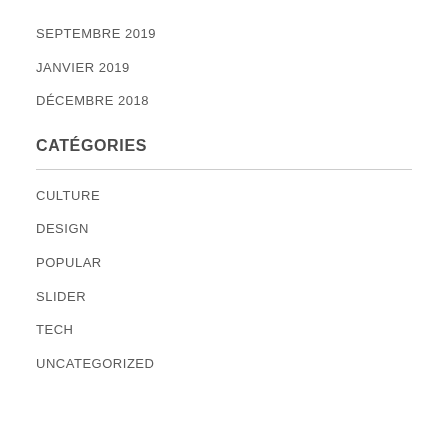SEPTEMBRE 2019
JANVIER 2019
DÉCEMBRE 2018
CATÉGORIES
CULTURE
DESIGN
POPULAR
SLIDER
TECH
UNCATEGORIZED